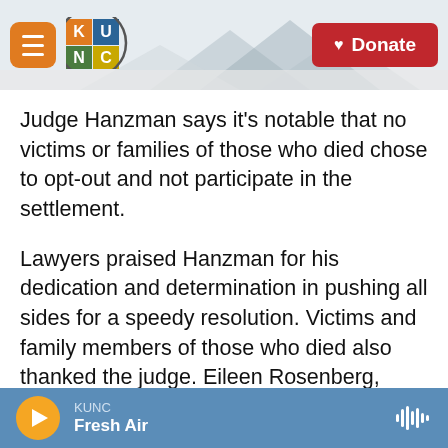KUNC logo and navigation header with Donate button
Judge Hanzman says it's notable that no victims or families of those who died chose to opt-out and not participate in the settlement.
Lawyers praised Hanzman for his dedication and determination in pushing all sides for a speedy resolution. Victims and family members of those who died also thanked the judge. Eileen Rosenberg, whose daughter Malky was killed in the collapse, said Hanzman had "put himself in our shoes (and) mirrored our pain and tears."
Owners of condo units will split the proceeds of the
KUNC Fresh Air